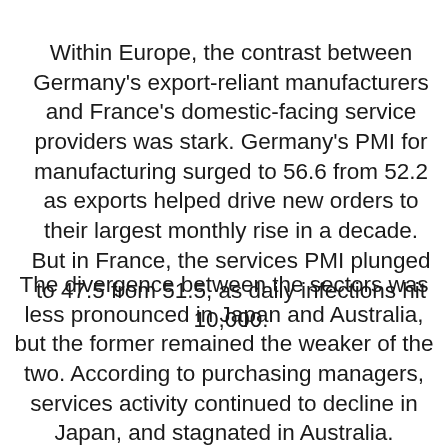Within Europe, the contrast between Germany's export-reliant manufacturers and France's domestic-facing service providers was stark. Germany's PMI for manufacturing surged to 56.6 from 52.2 as exports helped drive new orders to their largest monthly rise in a decade. But in France, the services PMI plunged to 47.5 from 51.5, as daily infections hit 10,000.
The divergence between the sectors was less pronounced in Japan and Australia, but the former remained the weaker of the two. According to purchasing managers, services activity continued to decline in Japan, and stagnated in Australia.